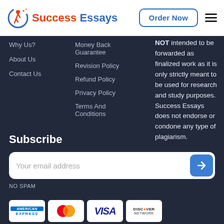Success Essays — Order Now
Why Us?
About Us
Contact Us
Money Back Guarantee
Revision Policy
Refund Policy
Privacy Policy
Terms And Conditions
NOT intended to be forwarded as finalized work as it is only strictly meant to be used for research and study purposes. Success Essays does not endorse or condone any type of plagiarism.
Subscribe
Your email address
NO SPAM
[Figure (other): Payment method logos: American Express, Mastercard, Visa, Discover Network]